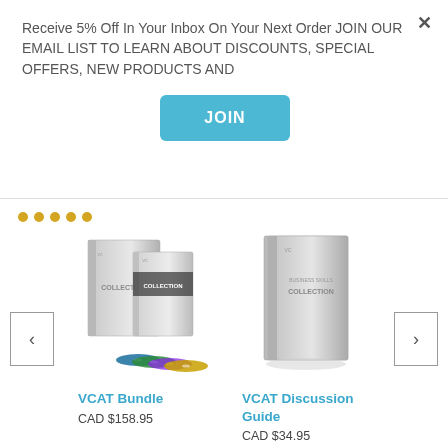Receive 5% Off In Your Inbox On Your Next Order JOIN OUR EMAIL LIST TO LEARN ABOUT DISCOUNTS, SPECIAL OFFERS, NEW PRODUCTS AND
JOIN
[Figure (photo): VCAT Bundle product image showing box set with DVDs and CDs]
VCAT Bundle
CAD $158.95
[Figure (photo): VCAT Discussion Guide product image showing a book/guide]
VCAT Discussion Guide
CAD $34.95